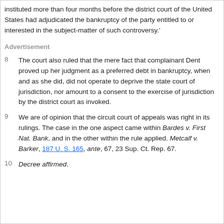instituted more than four months before the district court of the United States had adjudicated the bankruptcy of the party entitled to or interested in the subject-matter of such controversy.'
Advertisement
8   The court also ruled that the mere fact that complainant Dent proved up her judgment as a preferred debt in bankruptcy, when and as she did, did not operate to deprive the state court of jurisdiction, nor amount to a consent to the exercise of jurisdiction by the district court as invoked.
9   We are of opinion that the circuit court of appeals was right in its rulings. The case in the one aspect came within Bardes v. First Nat. Bank, and in the other within the rule applied. Metcalf v. Barker, 187 U. S. 165, ante, 67, 23 Sup. Ct. Rep. 67.
10  Decree affirmed.